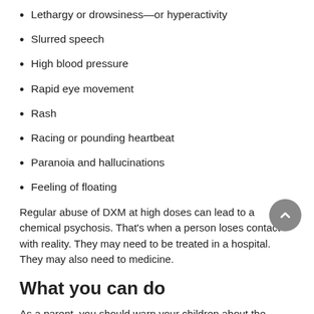Lethargy or drowsiness—or hyperactivity
Slurred speech
High blood pressure
Rapid eye movement
Rash
Racing or pounding heartbeat
Paranoia and hallucinations
Feeling of floating
Regular abuse of DXM at high doses can lead to a chemical psychosis. That's when a person loses contact with reality. They may need to be treated in a hospital. They may also need to medicine.
What you can do
As a parent, you should warn your children about the dangers of